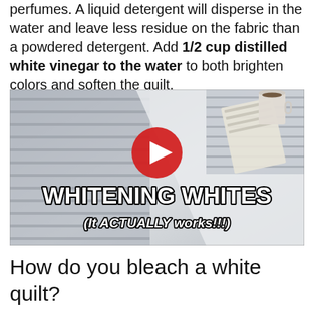perfumes. A liquid detergent will disperse in the water and leave less residue on the fabric than a powdered detergent. Add 1/2 cup distilled white vinegar to the water to both brighten colors and soften the quilt.
[Figure (screenshot): YouTube video thumbnail showing a bed with striped linen, a coffee cup and notebook, with a red play button. Text overlay reads 'WHITENING WHITES (It ACTUALLY works!!!)']
How do you bleach a white quilt?